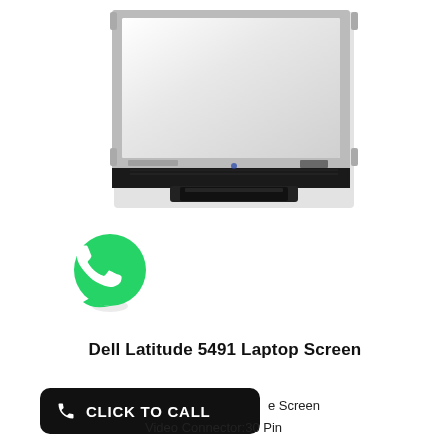[Figure (photo): Dell Latitude 5491 laptop replacement screen panel, shown from the back/bottom with mounting brackets and cable connector visible. White/reflective panel face. Black cable at bottom.]
[Figure (logo): WhatsApp logo: green circular icon with white telephone handset]
Dell Latitude 5491 Laptop Screen
[Figure (other): Black rounded rectangle button with white phone icon and text 'CLICK TO CALL']
e Screen
Video Connector:30 Pin